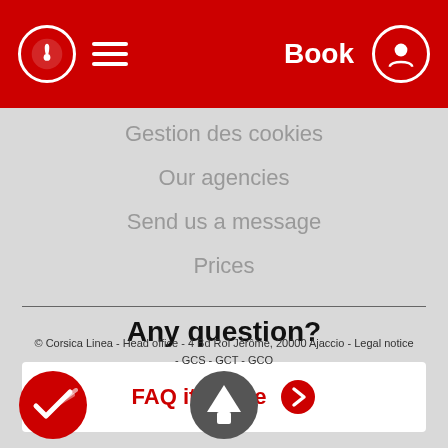Book
Gestion des cookies
Our agencies
Send us a message
Prices
Any question?
FAQ it's here
© Corsica Linea - Head office - 4 Bd Roi Jérôme, 20000 Ajaccio - Legal notice - GCS - GCT - GCO